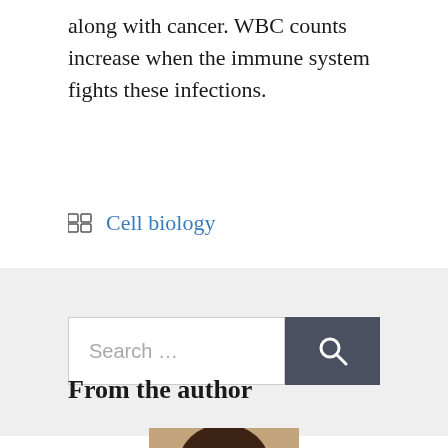along with cancer. WBC counts increase when the immune system fights these infections.
Cell biology
[Figure (other): Search bar with text input field and dark gray search button with magnifying glass icon]
From the author
[Figure (photo): Headshot photo of a woman with long brown hair]